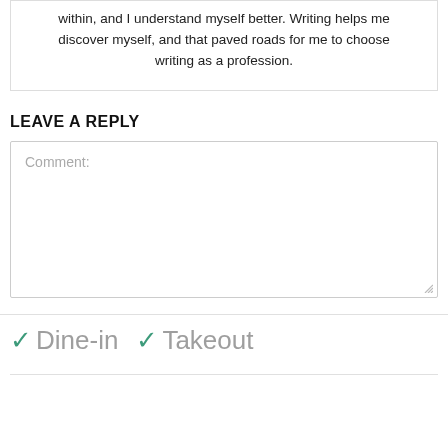within, and I understand myself better. Writing helps me discover myself, and that paved roads for me to choose writing as a profession.
LEAVE A REPLY
Comment:
✓ Dine-in ✓ Takeout